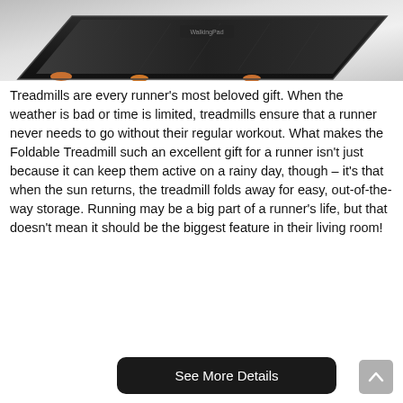[Figure (photo): Close-up photo of a black foldable treadmill with orange accent feet/details, viewed from an angle, on a light gray background.]
Treadmills are every runner's most beloved gift. When the weather is bad or time is limited, treadmills ensure that a runner never needs to go without their regular workout. What makes the Foldable Treadmill such an excellent gift for a runner isn't just because it can keep them active on a rainy day, though – it's that when the sun returns, the treadmill folds away for easy, out-of-the-way storage. Running may be a big part of a runner's life, but that doesn't mean it should be the biggest feature in their living room!
[Figure (other): Black rounded rectangle button with white text reading 'See More Details']